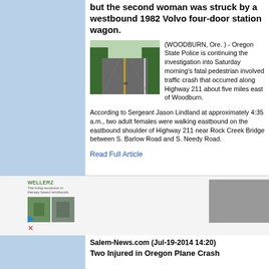but the second woman was struck by a westbound 1982 Volvo four-door station wagon.
[Figure (photo): Aerial view of a two-lane highway with a yellow center line, surrounded by green trees]
(WOODBURN, Ore. ) - Oregon State Police is continuing the investigation into Saturday morning's fatal pedestrian involved traffic crash that occurred along Highway 211 about five miles east of Woodburn.
According to Sergeant Jason Lindland at approximately 4:35 a.m., two adult females were walking eastbound on the eastbound shoulder of Highway 211 near Rock Creek Bridge between S. Barlow Road and S. Needy Road.
Read Full Article
[Figure (other): Advertisement banner featuring Wellerz logo with play and close buttons, and a gray box on the right]
Salem-News.com (Jul-19-2014 14:20)
Two Injured in Oregon Plane Crash